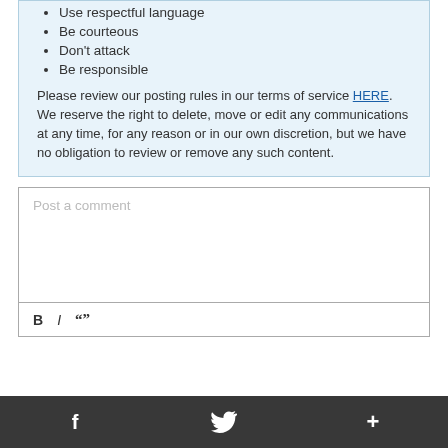Use respectful language
Be courteous
Don't attack
Be responsible
Please review our posting rules in our terms of service HERE. We reserve the right to delete, move or edit any communications at any time, for any reason or in our own discretion, but we have no obligation to review or remove any such content.
Post a comment
[Figure (screenshot): Comment toolbar with Bold (B), Italic (I), and Quote (“”) buttons]
[Figure (screenshot): Bottom social bar with Facebook, Twitter, and Plus (+) icons on dark background]